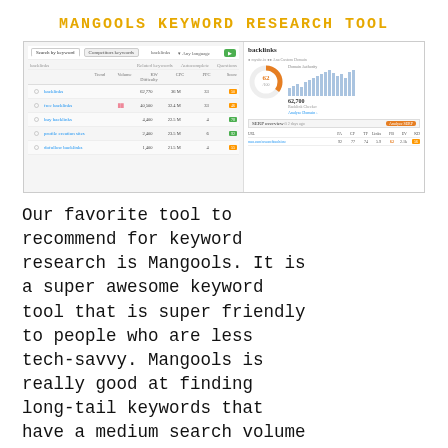MANGOOLS KEYWORD RESEARCH TOOL
[Figure (screenshot): Screenshot of Mangools keyword research tool interface showing two panels: left panel with keyword data table (backlinks, buy backlinks, buy backlinks, etc.) and right panel showing backlinks section with a donut chart (62), bar graph (62,700 backlinks), and SERP overview table.]
Our favorite tool to recommend for keyword research is Mangools. It is a super awesome keyword tool that is super friendly to people who are less tech-savvy. Mangools is really good at finding long-tail keywords that have a medium search volume and low competition. It makes it easy to find the